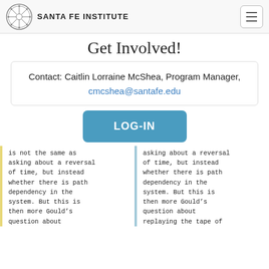SANTA FE INSTITUTE
Get Involved!
Contact: Caitlin Lorraine McShea, Program Manager, cmcshea@santafe.edu
LOG-IN
is not the same as asking about a reversal of time, but instead whether there is path dependency in the system. But this is then more Gould’s question about replaying the tape of
asking about a reversal of time, but instead whether there is path dependency in the system. But this is then more Gould’s question about replaying the tape of life than it is about